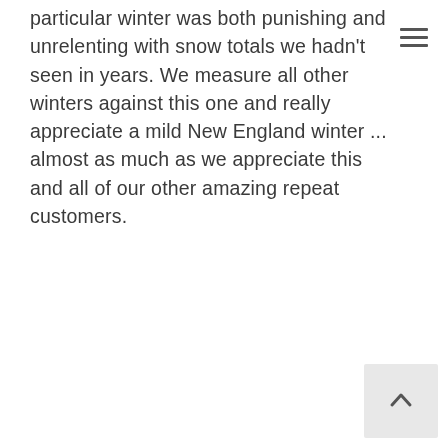particular winter was both punishing and unrelenting with snow totals we hadn't seen in years. We measure all other winters against this one and really appreciate a mild New England winter ... almost as much as we appreciate this and all of our other amazing repeat customers.